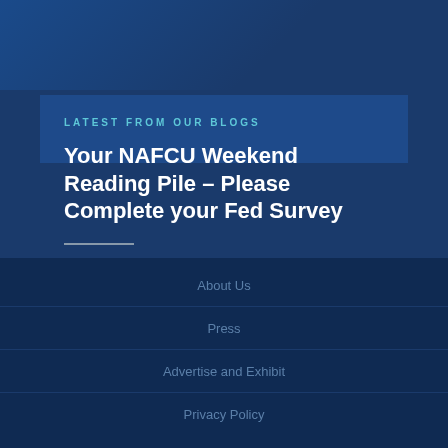LATEST FROM OUR BLOGS
Your NAFCU Weekend Reading Pile – Please Complete your Fed Survey
[Figure (infographic): Social media icons row: Facebook, Twitter, LinkedIn, Instagram, YouTube on light gray background squares]
About Us
Press
Advertise and Exhibit
Privacy Policy